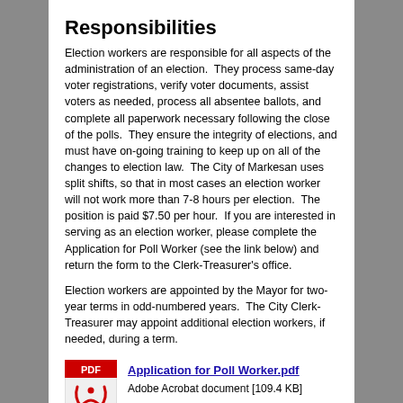Responsibilities
Election workers are responsible for all aspects of the administration of an election. They process same-day voter registrations, verify voter documents, assist voters as needed, process all absentee ballots, and complete all paperwork necessary following the close of the polls. They ensure the integrity of elections, and must have on-going training to keep up on all of the changes to election law. The City of Markesan uses split shifts, so that in most cases an election worker will not work more than 7-8 hours per election. The position is paid $7.50 per hour. If you are interested in serving as an election worker, please complete the Application for Poll Worker (see the link below) and return the form to the Clerk-Treasurer's office.
Election workers are appointed by the Mayor for two-year terms in odd-numbered years. The City Clerk-Treasurer may appoint additional election workers, if needed, during a term.
[Figure (other): PDF file icon with red header bar reading PDF and Adobe Acrobat logo]
Application for Poll Worker.pdf
Adobe Acrobat document [109.4 KB]